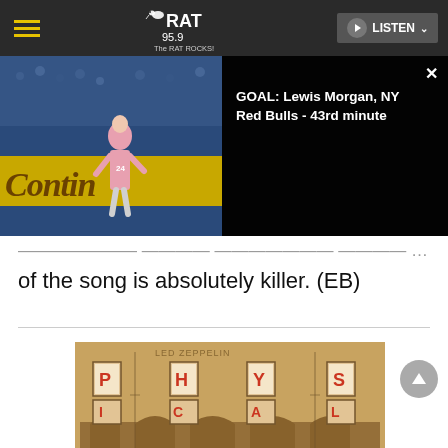RAT 95.9 - The RAT ROCKS! | LISTEN
[Figure (screenshot): Soccer match video still showing a player in front of Continental advertising board, with dark overlay panel showing goal notification: GOAL: Lewis Morgan, NY Red Bulls - 43rd minute]
of the song is absolutely killer. (EB)
[Figure (photo): Led Zeppelin Physical Graffiti album cover - sepia toned image of a New York brownstone building facade with letters P-H-Y-S-I-C-A-L G-R-A-F visible in windows]